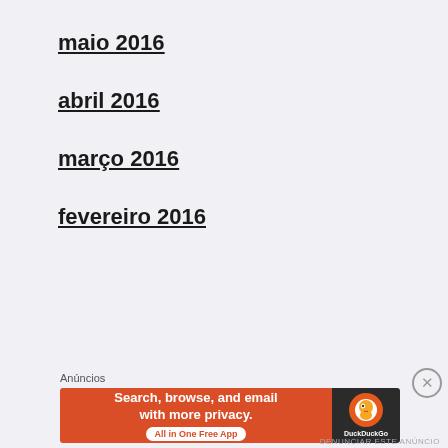maio 2016
abril 2016
março 2016
fevereiro 2016
Anúncios
[Figure (screenshot): DuckDuckGo advertisement banner: orange left panel with text 'Search, browse, and email with more privacy. All in One Free App' and dark right panel with DuckDuckGo logo]